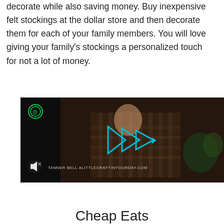decorate while also saving money. Buy inexpensive felt stockings at the dollar store and then decorate them for each of your family members. You will love giving your family's stockings a personalized touch for not a lot of money.
[Figure (screenshot): Video player screenshot showing a man in a plaid shirt with blue geometric play button triangle icons overlaid. Bottom left shows a mute button icon. Bottom text reads: TANNER BELL   ALITTLECRAFTINYOURDAY.COM]
Cheap Eats